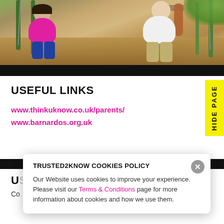[Figure (photo): Children playing on swings at a playground, viewed from behind. One child in pink jacket on left, another in white top with long auburn hair on right. Green metal playground equipment visible. Bark chip ground cover.]
USEFUL LINKS
www.thinkuknow.co.uk/parents/
www.barnardos.org.uk
USEFUL DOWNLOADS
Co...
TRUSTED2KNOW COOKIES POLICY
Our Website uses cookies to improve your experience. Please visit our Terms & Conditions page for more information about cookies and how we use them.